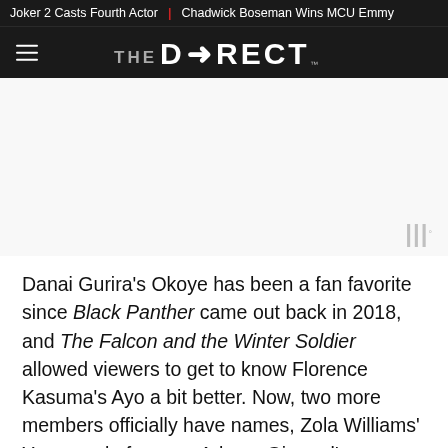Joker 2 Casts Fourth Actor | Chadwick Boseman Wins MCU Emmy
[Figure (logo): The Direct logo with hamburger menu icon on dark background]
[Figure (other): Advertisement/white space area with watermark symbol]
Danai Gurira's Okoye has been a fan favorite since Black Panther came out back in 2018, and The Falcon and the Winter Soldier allowed viewers to get to know Florence Kasuma's Ayo a bit better. Now, two more members officially have names, Zola Williams' Yama and of course Adams-Ginyard's own Nomble.